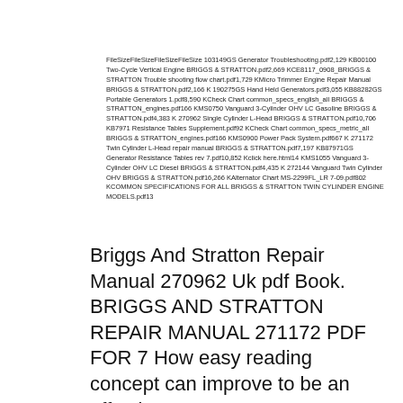FileSizeFileSizeFileSizeFileSize 103149GS Generator Troubleshooting.pdf2,129 KB00100 Two-Cycle Vertical Engine BRIGGS & STRATTON.pdf2,669 KCE8117_0908_BRIGGS & STRATTON Trouble shooting flow chart.pdf1,729 KMicro Trimmer Engine Repair Manual BRIGGS & STRATTON.pdf2,166 K 190275GS Hand Held Generators.pdf3,055 KB88282GS Portable Generators 1.pdf8,590 KCheck Chart common_specs_english_all BRIGGS & STRATTON_engines.pdf166 KMS0750 Vanguard 3-Cylinder OHV LC Gasoline BRIGGS & STRATTON.pdf4,383 K 270962 Single Cylinder L-Head BRIGGS & STRATTON.pdf10,706 KB7971 Resistance Tables Supplement.pdf92 KCheck Chart common_specs_metric_all BRIGGS & STRATTON_engines.pdf166 KMS0900 Power Pack System.pdf667 K 271172 Twin Cylinder L-Head repair manual BRIGGS & STRATTON.pdf7,197 KB87971GS Generator Resistance Tables rev 7.pdf10,852 Kclick here.html14 KMS1055 Vanguard 3-Cylinder OHV LC Diesel BRIGGS & STRATTON.pdf4,435 K 272144 Vanguard Twin Cylinder OHV BRIGGS & STRATTON.pdf16,266 KAlternator Chart MS-2299FL_LR 7-09.pdf802 KCOMMON SPECIFICATIONS FOR ALL BRIGGS & STRATTON TWIN CYLINDER ENGINE MODELS.pdf13
Briggs And Stratton Repair Manual 270962 Uk pdf Book. BRIGGS AND STRATTON REPAIR MANUAL 271172 PDF FOR 7 How easy reading concept can improve to be an effective person? BRIGGS AND STRATTON REPAIR